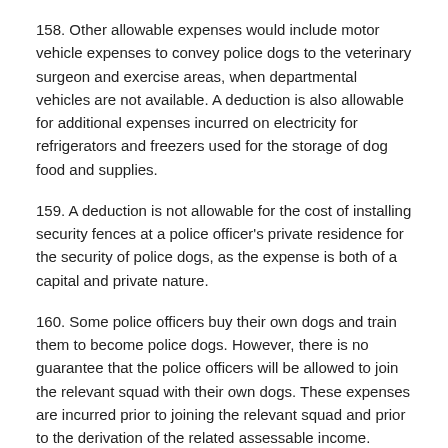158. Other allowable expenses would include motor vehicle expenses to convey police dogs to the veterinary surgeon and exercise areas, when departmental vehicles are not available. A deduction is also allowable for additional expenses incurred on electricity for refrigerators and freezers used for the storage of dog food and supplies.
159. A deduction is not allowable for the cost of installing security fences at a police officer's private residence for the security of police dogs, as the expense is both of a capital and private nature.
160. Some police officers buy their own dogs and train them to become police dogs. However, there is no guarantee that the police officers will be allowed to join the relevant squad with their own dogs. These expenses are incurred prior to joining the relevant squad and prior to the derivation of the related assessable income. Under these circumstances, the related expenses are not allowable deductions under subsection 51(1) of the Act.